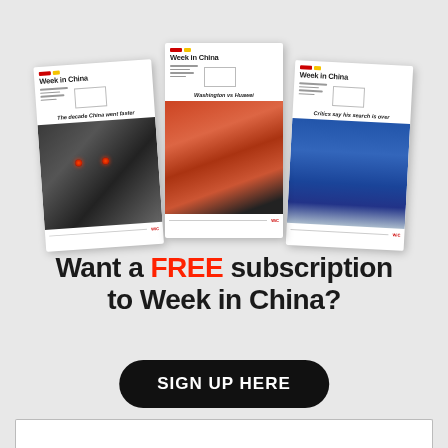[Figure (illustration): Three magazine covers of 'Week in China' showing different issues: 'The decade China went faster' with a high-speed train photo, 'Washington vs Huawei' with a man holding a smartphone, and 'Critics say his search is over' with a person speaking at a podium against a blue background.]
Want a FREE subscription to Week in China?
SIGN UP HERE